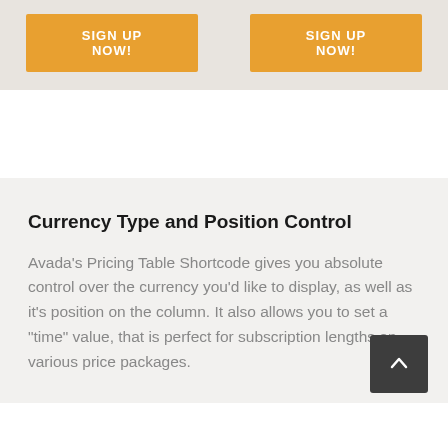[Figure (other): Two orange 'SIGN UP NOW!' buttons side by side on a beige/tan background banner]
Currency Type and Position Control
Avada’s Pricing Table Shortcode gives you absolute control over the currency you’d like to display, as well as it’s position on the column. It also allows you to set a “time” value, that is perfect for subscription lengths on various price packages.